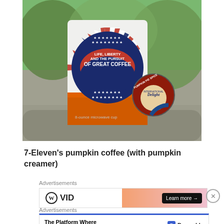[Figure (photo): Photo of a 7-Eleven coffee cup with patriotic label reading 'Life, Liberty and the Pursuit of Great Coffee' and an International Delight Pumpkin Pie Spice creamer pod beside it, set on a car dashboard with trees in background.]
7-Eleven’s pumpkin coffee (with pumpkin creamer)
Advertisements
[Figure (screenshot): Advertisement banner for WVid with orange gradient background and 'Learn more →' button]
Advertisements
[Figure (screenshot): Advertisement for Pressable: 'The Platform Where WordPress Works Best' with Pressable logo]